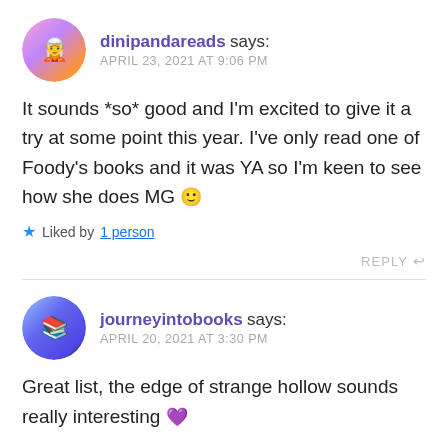[Figure (photo): Circular avatar for dinipandareads, colorful illustrated style]
dinipandareads says:
APRIL 23, 2021 AT 9:06 PM
It sounds *so* good and I'm excited to give it a try at some point this year. I've only read one of Foody's books and it was YA so I'm keen to see how she does MG 🙂
★ Liked by 1 person
REPLY ↩
[Figure (photo): Circular avatar for journeyintobooks, person with bookshelf background]
journeyintobooks says:
APRIL 20, 2021 AT 3:30 PM
Great list, the edge of strange hollow sounds really interesting 💜